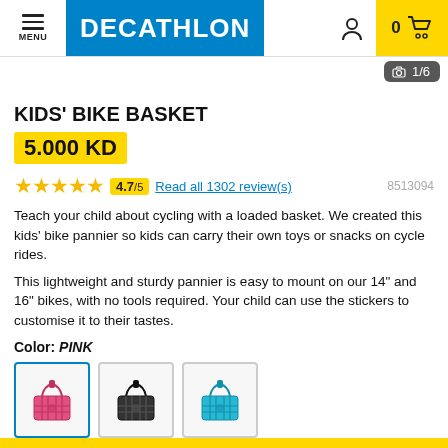MENU | DECATHLON | 0 (cart)
[Figure (screenshot): Image counter showing 1/6 with camera icon]
KIDS' BIKE BASKET
5.000 KD
4.7/5  Read all 1302 review(s)  8513094
Teach your child about cycling with a loaded basket. We created this kids' bike pannier so kids can carry their own toys or snacks on cycle rides.
This lightweight and sturdy pannier is easy to mount on our 14" and 16" bikes, with no tools required. Your child can use the stickers to customise it to their tastes.
Color: PINK
[Figure (photo): Three color swatches of kids bike basket: pink (selected), black, blue]
Sizes Guide